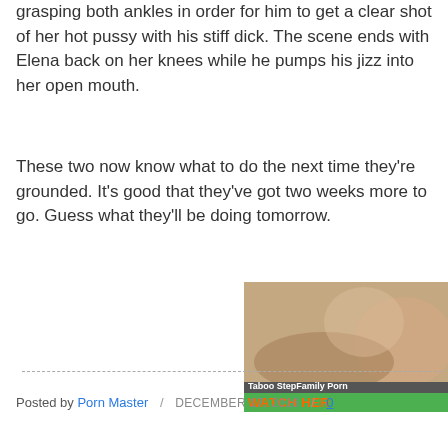grasping both ankles in order for him to get a clear shot of her hot pussy with his stiff dick. The scene ends with Elena back on her knees while he pumps his jizz into her open mouth.
These two now know what to do the next time they're grounded. It's good that they've got two weeks more to go. Guess what they'll be doing tomorrow.
[Figure (screenshot): Video thumbnail showing adult content with 'Play Video' button overlay and caption 'Taboo StepFamily Porn' and 'WATCH HER']
Posted by Porn Master / DECEMBER 17, 2016 / 0